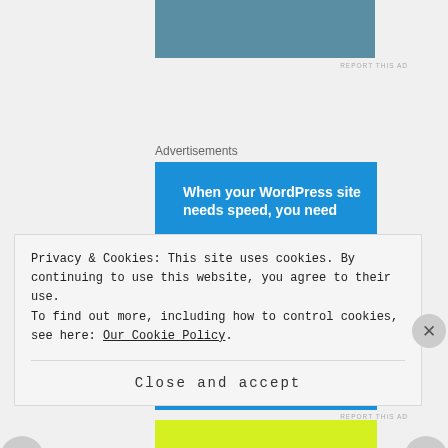[Figure (illustration): Top teal/blue rectangular banner strip at top of page]
REPORT THIS AD
Advertisements
[Figure (infographic): Pressable advertisement on blue background. Text reads: When your WordPress site needs speed, you need Pressable. Logo with P icon. Green divider line. Person flying horizontally holding a laptop.]
Privacy & Cookies: This site uses cookies. By continuing to use this website, you agree to their use.
To find out more, including how to control cookies, see here: Our Cookie Policy.
Close and accept
[Figure (illustration): Bottom yellow stripe]